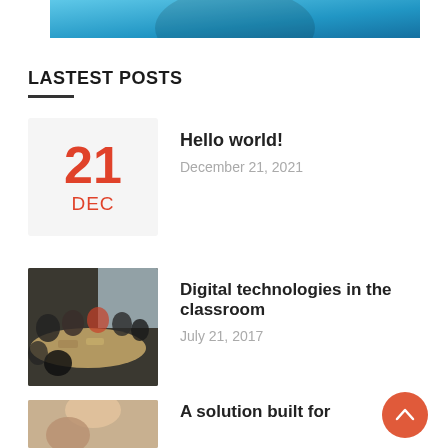[Figure (photo): Blue gradient banner image at the top of the page]
LASTEST POSTS
[Figure (other): Date box showing 21 DEC in red on light grey background]
Hello world!
December 21, 2021
[Figure (photo): Photo of people sitting around a table in a classroom or meeting room]
Digital technologies in the classroom
July 21, 2017
[Figure (photo): Partial photo visible at the bottom of the page]
A solution built for